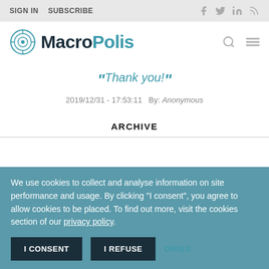SIGN IN   SUBSCRIBE
MacroPolis
"Thank you!"
2019/12/31 - 17:53:11   By: Anonymous
ARCHIVE
We use cookies to collect and analyse information on site performance and usage. By clicking "I consent", you agree to allow cookies to be placed. To find out more, visit the cookies section of our privacy policy.
I CONSENT   I REFUSE